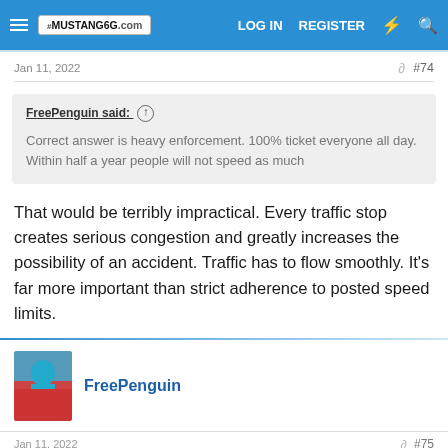MUSTANG6G.com — LOG IN   REGISTER
Jan 11, 2022   #74
FreePenguin said: ↑

Correct answer is heavy enforcement. 100% ticket everyone all day. Within half a year people will not speed as much
That would be terribly impractical. Every traffic stop creates serious congestion and greatly increases the possibility of an accident. Traffic has to flow smoothly. It's far more important than strict adherence to posted speed limits.
FreePenguin
Jan 11, 2022   #75